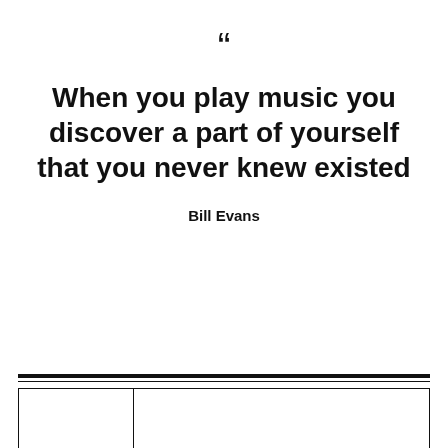“
When you play music you discover a part of yourself that you never knew existed
Bill Evans
|  | FABLE POSTER WITH |